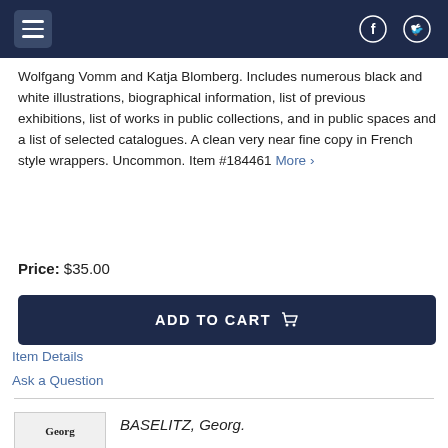Navigation bar with menu and social icons
Wolfgang Vomm and Katja Blomberg. Includes numerous black and white illustrations, biographical information, list of previous exhibitions, list of works in public collections, and in public spaces and a list of selected catalogues. A clean very near fine copy in French style wrappers. Uncommon. Item #184461 More ›
Price: $35.00
ADD TO CART
Item Details
Ask a Question
BASELITZ, Georg.